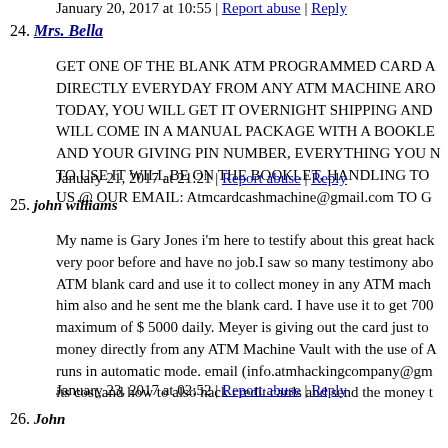24. Mrs. Bella
GET ONE OF THE BLANK ATM PROGRAMMED CARD A DIRECTLY EVERYDAY FROM ANY ATM MACHINE ARO TODAY, YOU WILL GET IT OVERNIGHT SHIPPING AND WILL COME IN A MANUAL PACKAGE WITH A BOOKLE AND YOUR GIVING PIN NUMBER, EVERYTHING YOU TO USE IT WILL BE ON THE BOOKLET, HANDLING TO US @ OUR EMAIL: Atmcardcashmachine@gmail.com TO G
January 21, 2017 at 21:21 | Report abuse | Reply
25. john williams
My name is Gary Jones i'm here to testify about this great hack very poor before and have no job.I saw so many testimony abo ATM blank card and use it to collect money in any ATM mach him also and he sent me the blank card. I have use it to get 700 maximum of $ 5000 daily. Meyer is giving out the card just to money directly from any ATM Machine Vault with the use of A runs in automatic mode. email (info.atmhackingcompany@gm its cost,and how to also hack credit cards and send the money t
January 23, 2017 at 02:52 | Report abuse | Reply
26. John